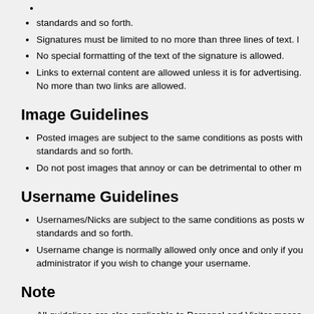standards and so forth.
Signatures must be limited to no more than three lines of text. l
No special formatting of the text of the signature is allowed.
Links to external content are allowed unless it is for advertising. No more than two links are allowed.
Image Guidelines
Posted images are subject to the same conditions as posts with standards and so forth.
Do not post images that annoy or can be detrimental to other m
Username Guidelines
Usernames/Nicks are subject to the same conditions as posts w standards and so forth.
Username change is normally allowed only once and only if you administrator if you wish to change your username.
Note
All guidelines are also applicable to Personal and Visitor messa
Please help us maintain a high st
Use the report function: Please do not act as “back seat moder of the moderators using the report feature of the forum. Do NO